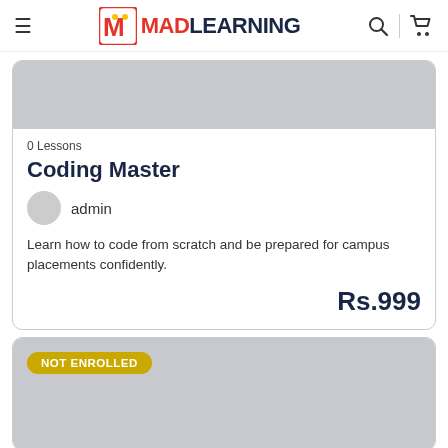MADLEARNING
[Figure (screenshot): Course card image area, gray background]
0 Lessons
Coding Master
admin
Learn how to code from scratch and be prepared for campus placements confidently.
Rs.999
[Figure (screenshot): Second course card with NOT ENROLLED badge, gray background]